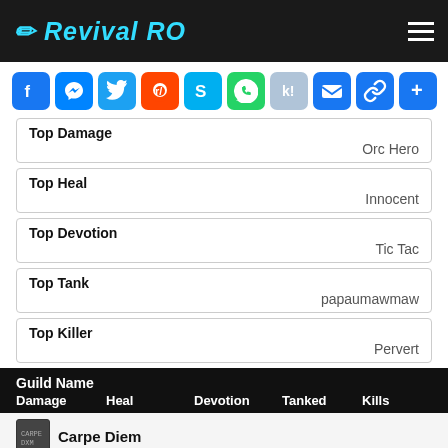Revival RO
[Figure (infographic): Social sharing icons row: Facebook, Messenger, Twitter, Reddit, Skype, WhatsApp, Kik, Email, Link, More]
| Top Damage | Orc Hero |
| Top Heal | Innocent |
| Top Devotion | Tic Tac |
| Top Tank | papaumawmaw |
| Top Killer | Pervert |
| Guild Name | Damage | Heal | Devotion | Tanked | Kills |
| --- | --- | --- | --- | --- | --- |
| Carpe Diem |  |  |  |  |  |